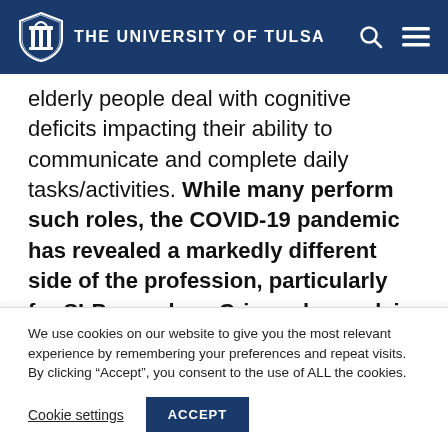THE UNIVERSITY OF TULSA
elderly people deal with cognitive deficits impacting their ability to communicate and complete daily tasks/activities. While many perform such roles, the COVID-19 pandemic has revealed a markedly different side of the profession, particularly for SLPs, such as Crise, who work in hospitals. Indeed, for the past 20
We use cookies on our website to give you the most relevant experience by remembering your preferences and repeat visits. By clicking “Accept”, you consent to the use of ALL the cookies.
Cookie settings  ACCEPT